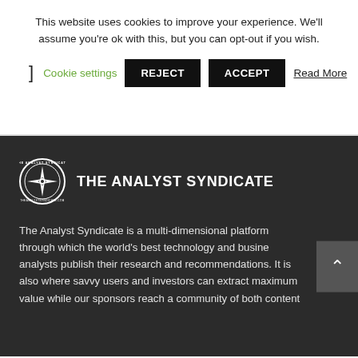This website uses cookies to improve your experience. We'll assume you're ok with this, but you can opt-out if you wish.
] Cookie settings  REJECT  ACCEPT  Read More
[Figure (logo): The Analyst Syndicate circular badge logo with star/compass icon in center, surrounded by text THE ANALYST SYNDICATE]
THE ANALYST SYNDICATE
The Analyst Syndicate is a multi-dimensional platform through which the world's best technology and business analysts publish their research and recommendations. It is also where savvy users and investors can extract maximum value while our sponsors reach a community of both content